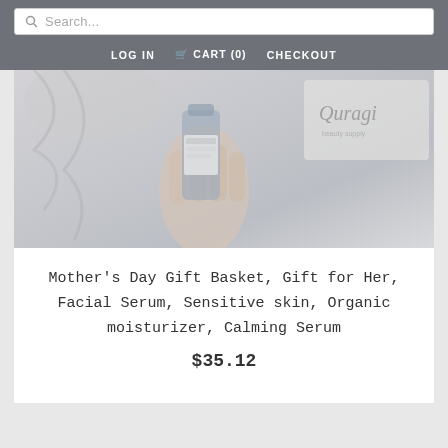Search... | LOG IN  CART (0)  CHECKOUT
[Figure (photo): A hand holding a small skincare serum bottle with a Quragi brand logo box visible in the background. The image has a faded/washed-out appearance.]
Mother's Day Gift Basket, Gift for Her, Facial Serum, Sensitive skin, Organic moisturizer, Calming Serum
$35.12